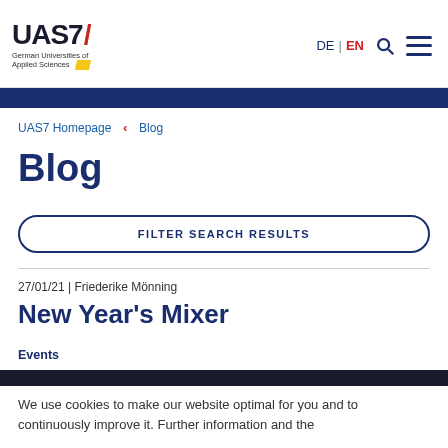UAS7 / German Universities of Applied Sciences — DE | EN
UAS7 Homepage < Blog
Blog
FILTER SEARCH RESULTS
27/01/21 | Friederike Mönning
New Year's Mixer
Events
We use cookies to make our website optimal for you and to continuously improve it. Further information and the